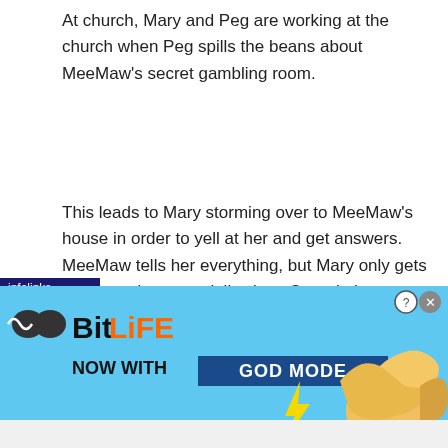At church, Mary and Peg are working at the church when Peg spills the beans about MeeMaw’s secret gambling room.
This leads to Mary storming over to MeeMaw’s house in order to yell at her and get answers. MeeMaw tells her everything, but Mary only gets even angrier, especially since Georgie is involved.
President Hagemeyer and Sheldon learn their initial plan
[Figure (screenshot): BitLife advertisement banner with blue background, logo reading 'BitLife' with 'NOW WITH GOD MODE' text, lightning bolt graphic, and cartoon pointing hand. Infolinks label visible at top-left of ad. Close button (X) and help (?) button at top-right.]